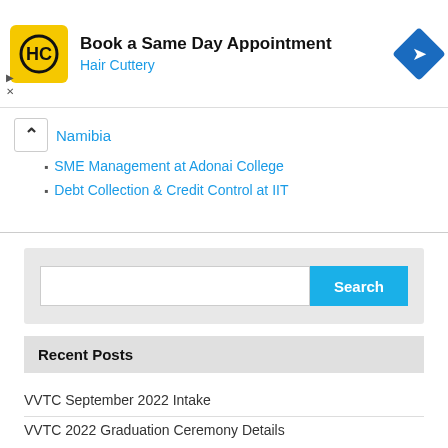[Figure (other): Hair Cuttery advertisement banner: yellow square logo with HC initials, text 'Book a Same Day Appointment' and 'Hair Cuttery' in blue, blue diamond navigation icon on the right]
Namibia
SME Management at Adonai College
Debt Collection & Credit Control at IIT
[Figure (other): Search bar with text input field and blue Search button]
Recent Posts
VVTC September 2022 Intake
VVTC 2022 Graduation Ceremony Details